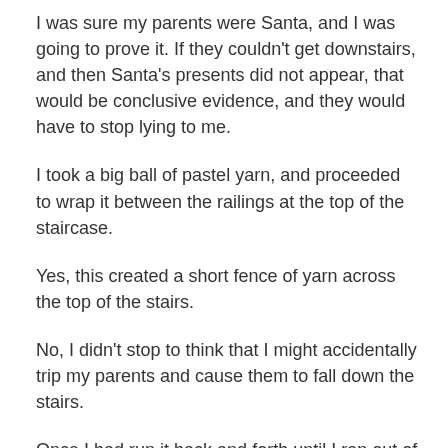I was sure my parents were Santa, and I was going to prove it. If they couldn't get downstairs, and then Santa's presents did not appear, that would be conclusive evidence, and they would have to stop lying to me.
I took a big ball of pastel yarn, and proceeded to wrap it between the railings at the top of the staircase.
Yes, this created a short fence of yarn across the top of the stairs.
No, I didn't stop to think that I might accidentally trip my parents and cause them to fall down the stairs.
Once I had run it back and forth until I ran out of yarn, I knotted it firmly, and retreated back to bed, mission accomplished.